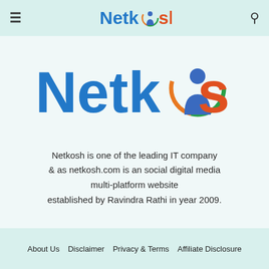≡  Netkosh  🔍
[Figure (logo): Netkosh logo in large format — 'Netk' in blue, circle icon with figure in blue/orange/green, 'sh' in orange-red]
Netkosh is one of the leading IT company & as netkosh.com is an social digital media multi-platform website established by Ravindra Rathi in year 2009.
About Us   Disclaimer   Privacy & Terms   Affiliate Disclosure